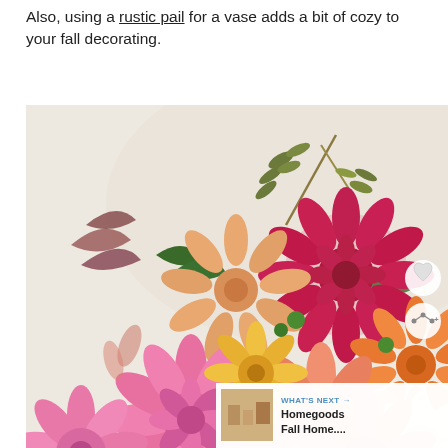Also, using a rustic pail for a vase adds a bit of cozy to your fall decorating.
[Figure (photo): A colorful bouquet of fall dahlias in shades of pink, peach, magenta, orange and coral, with greenery including olive branches, arranged in a rustic container on a light background. Overlay icons for heart (save) and share are visible on the right side. A 'What's Next' thumbnail bar appears in the bottom right showing 'Homegoods Fall Home...' with a small interior photo.]